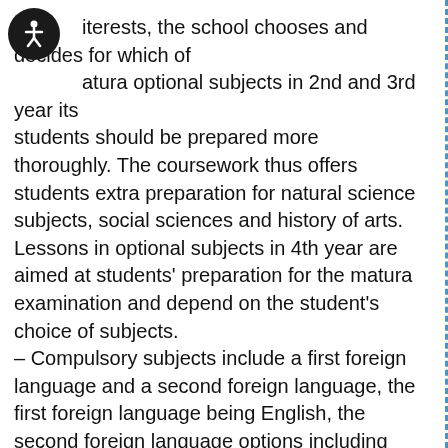[Figure (illustration): Accessibility icon — white wheelchair/person symbol on black circle background, top-left corner]
iterests, the school chooses and decides for which of atura optional subjects in 2nd and 3rd year its students should be prepared more thoroughly. The coursework thus offers students extra preparation for natural science subjects, social sciences and history of arts. Lessons in optional subjects in 4th year are aimed at students' preparation for the matura examination and depend on the student's choice of subjects.
– Compulsory subjects include a first foreign language and a second foreign language, the first foreign language being English, the second foreign language options including German, French, Spanish or Italian. The school organizes extra foreign language courses in German, French, Spanish, Italian, Japanese or Chinese given the sufficient number of candidates.
– General upper secondary education ends after having successfully completed 4th year and matura examination (splošna matura), which includes Slovene, Mathematics, a